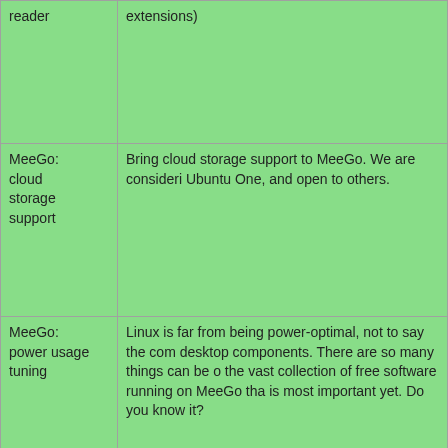| Topic | Description |
| --- | --- |
| reader | extensions) |
| MeeGo: cloud storage support | Bring cloud storage support to MeeGo. We are considering Ubuntu One, and open to others. |
| MeeGo: power usage tuning | Linux is far from being power-optimal, not to say the com desktop components. There are so many things can be o the vast collection of free software running on MeeGo tha is most important yet. Do you know it? |
Hard